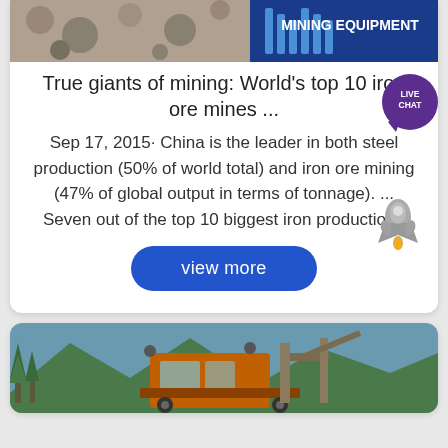[Figure (screenshot): Top banner image of mining equipment with blue logo and MINING EQUIPMENT text]
True giants of mining: World's top 10 iron ore mines ...
Sep 17, 2015· China is the leader in both steel production (50% of world total) and iron ore mining (47% of global output in terms of tonnage). ... Seven out of the top 10 biggest iron production .
[Figure (illustration): Live Chat speech bubble icon in purple/teal]
[Figure (illustration): Rocket icon in grey]
view more
[Figure (photo): Photo of orange mining vehicle/drill rig with mountains and trees in background]